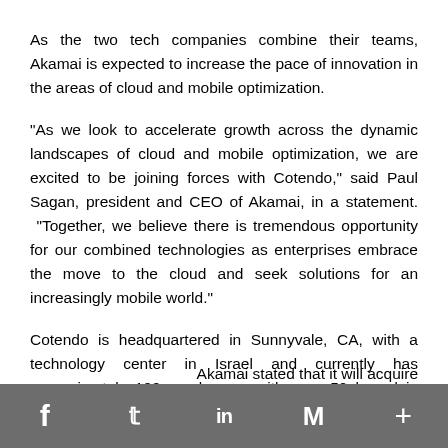As the two tech companies combine their teams, Akamai is expected to increase the pace of innovation in the areas of cloud and mobile optimization.
"As we look to accelerate growth across the dynamic landscapes of cloud and mobile optimization, we are excited to be joining forces with Cotendo," said Paul Sagan, president and CEO of Akamai, in a statement. "Together, we believe there is tremendous opportunity for our combined technologies as enterprises embrace the move to the cloud and seek solutions for an increasingly mobile world."
Cotendo is headquartered in Sunnyvale, CA, with a technology center in Israel and currently has approximately 100 employees, with over 50 based in Israel.
Akamai stated that it will acquire
f  t  in  M  +